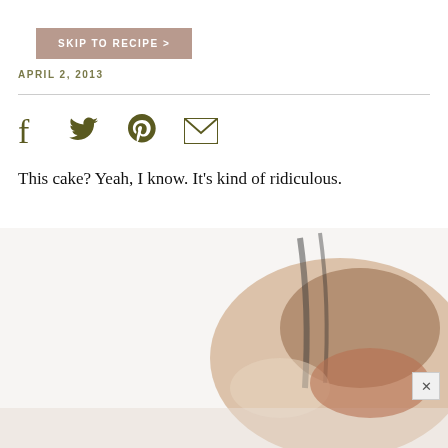SKIP TO RECIPE >
APRIL 2, 2013
[Figure (other): Social media sharing icons: Facebook, Twitter, Pinterest, Email]
This cake? Yeah, I know. It’s kind of ridiculous.
[Figure (photo): Blurred photo of a chocolate cake being served, with a hand and utensil visible, white background, close-up shot]